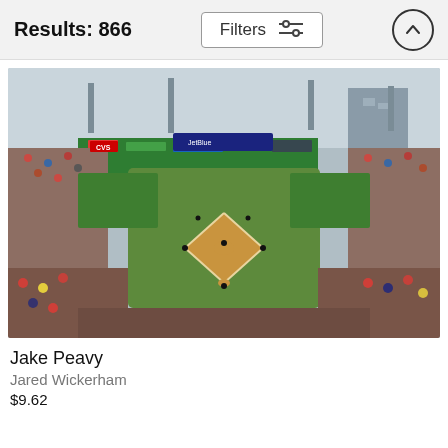Results: 866
[Figure (photo): Aerial view of Fenway Park baseball stadium filled with fans during a game, showing the baseball diamond, green outfield wall, and packed stands]
Jake Peavy
Jared Wickerham
$9.62